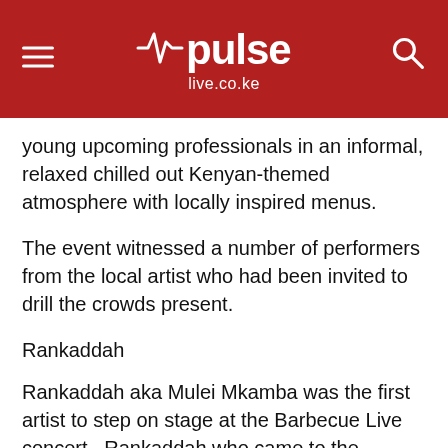pulse live.co.ke
young upcoming professionals in an informal, relaxed chilled out Kenyan-themed atmosphere with locally inspired menus.
The event witnessed a number of performers from the local artist who had been invited to drill the crowds present.
Rankaddah
Rankaddah aka Mulei Mkamba was the first artist to step on stage at the Barbecue Live concert.  Rankaddah who came to the limelight with his song “Tingika” got the chance to curtain raise for Timaya.
Rankaddah performed a number of his songs some of